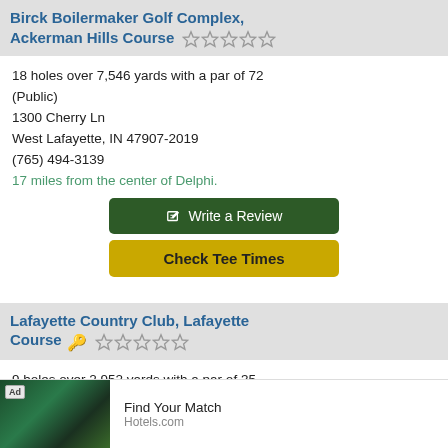Birck Boilermaker Golf Complex, Ackerman Hills Course
18 holes over 7,546 yards with a par of 72 (Public)
1300 Cherry Ln
West Lafayette, IN 47907-2019
(765) 494-3139
17 miles from the center of Delphi.
Write a Review
Check Tee Times
Lafayette Country Club, Lafayette Course
9 holes over 2,952 yards with a par of 35 (Private)
1500 S 9th St
Lafayette,
(765) 474-
18 miles fr...
Ad - Find Your Match - Hotels.com